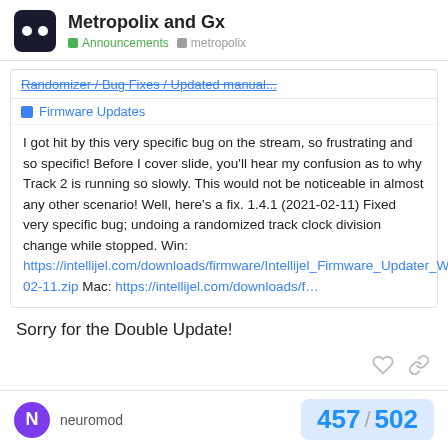Metropolix and Gx | Announcements | metropolix
Randomizer / Bug Fixes / Updated manual...
Firmware Updates
I got hit by this very specific bug on the stream, so frustrating and so specific! Before I cover slide, you'll hear my confusion as to why Track 2 is running so slowly. This would not be noticeable in almost any other scenario! Well, here's a fix. 1.4.1 (2021-02-11) Fixed very specific bug; undoing a randomized track clock division change while stopped. Win: https://intellijel.com/downloads/firmware/Intellijel_Firmware_Updater_Windows_2022-02-11.zip Mac: https://intellijel.com/downloads/f…
Sorry for the Double Update!
neuromod
457 / 502